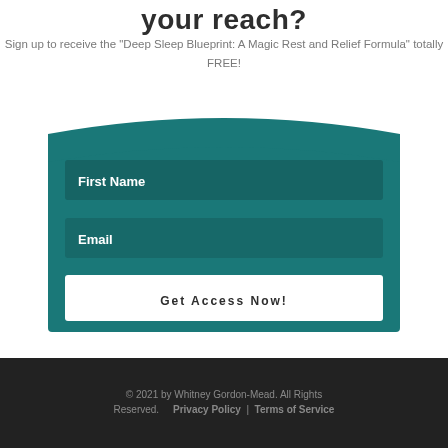your reach?
Sign up to receive the "Deep Sleep Blueprint: A Magic Rest and Relief Formula" totally FREE!
[Figure (other): Teal signup form with First Name field, Email field, and Get Access Now! button on dark teal background with curved top edge]
© 2021 by Whitney Gordon-Mead. All Rights Reserved. Privacy Policy | Terms of Service